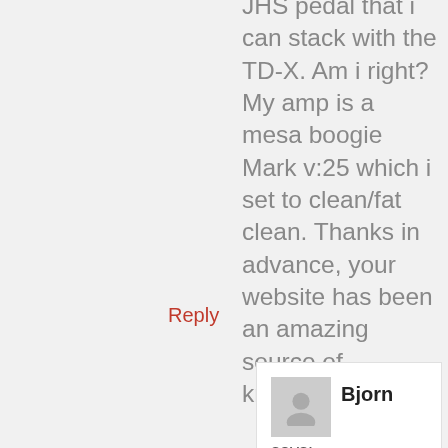JHS pedal that i can stack with the TD-X. Am i right? My amp is a mesa boogie Mark v:25 which i set to clean/fat clean. Thanks in advance, your website has been an amazing source of knowledge!
Reply
[Figure (illustration): User avatar placeholder image (gray silhouette on gray background)]
Bjorn
says:
April 23, 2016 at 4:26